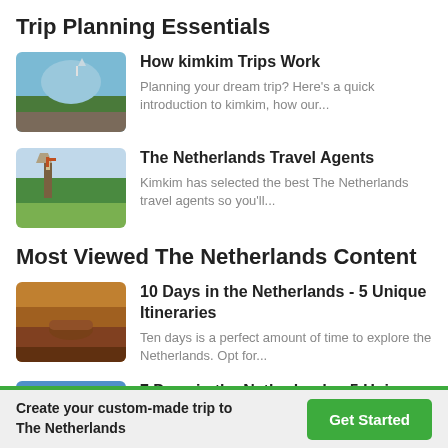Trip Planning Essentials
How kimkim Trips Work
Planning your dream trip? Here's a quick introduction to kimkim, how our...
The Netherlands Travel Agents
Kimkim has selected the best The Netherlands travel agents so you'll...
Most Viewed The Netherlands Content
10 Days in the Netherlands - 5 Unique Itineraries
Ten days is a perfect amount of time to explore the Netherlands. Opt for...
7 Days in the Netherlands - 5 Unique Itineraries
Create your custom-made trip to The Netherlands
Get Started